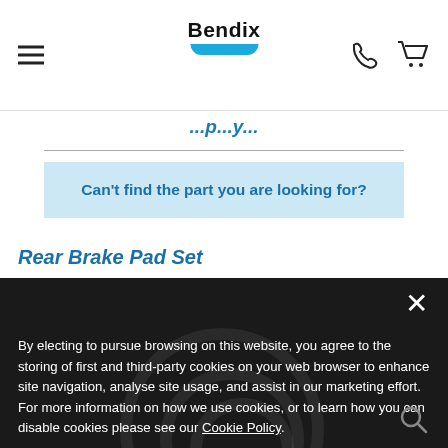Bendix [logo with hamburger menu, phone icon, cart icon]
...p...y... (partial italic blue title)
Can't find the part you are looking for?
Rear Brake Pad Set
By electing to pursue browsing on this website, you agree to the storing of first and third-party cookies on your web browser to enhance site navigation, analyse site usage, and assist in our marketing effort. For more information on how we use cookies, or to learn how you can disable cookies please see our Cookie Policy.